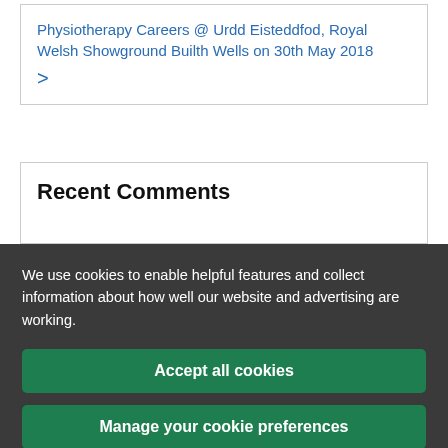Physiotherapy Careers @ Urdd Eisteddfod, Royal Welsh Showground Builth Wells on 30th May 2018 >
Recent Comments
We use cookies to enable helpful features and collect information about how well our website and advertising are working.
Accept all cookies
Manage your cookie preferences